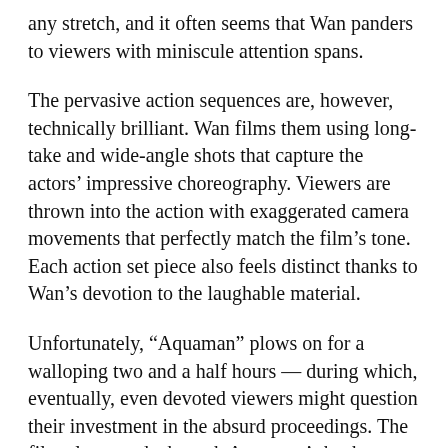any stretch, and it often seems that Wan panders to viewers with miniscule attention spans.
The pervasive action sequences are, however, technically brilliant. Wan films them using long-take and wide-angle shots that capture the actors' impressive choreography. Viewers are thrown into the action with exaggerated camera movements that perfectly match the film's tone. Each action set piece also feels distinct thanks to Wan's devotion to the laughable material.
Unfortunately, “Aquaman” plows on for a walloping two and a half hours — during which, eventually, even devoted viewers might question their investment in the absurd proceedings. The film also speeds through Aquaman’s backstory in an emotionally uninteresting way, and characters spout seemingly never-ending streams of exposition.
Coming in with rock-bottom expectations, I was pleasantly surprised by Wan’s approach to “Aquaman,”